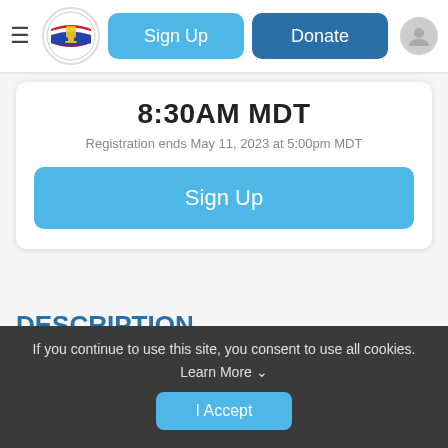[Figure (screenshot): Navigation bar with hamburger menu icon, circular logo with trophy/flag design, Sign Up button (light blue), Donate button (dark blue), and user profile icon]
8:30AM MDT
Registration ends May 11, 2023 at 5:00pm MDT
Sign Up
DESCRIPTION
DUE TO FACILITY SECURITY GUIDELINES, RACE REGISTRATION WILL CLOSE 2 DAYS PRIOR TO THE
If you continue to use this site, you consent to use all cookies.
Learn More ∨
I Accept